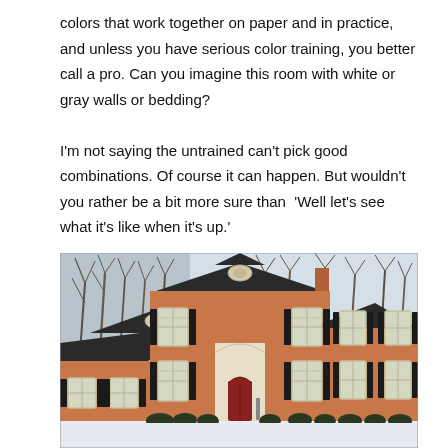colors that work together on paper and in practice, and unless you have serious color training, you better call a pro. Can you imagine this room with white or gray walls or bedding?

I'm not saying the untrained can't pick good combinations. Of course it can happen. But wouldn't you rather be a bit more sure than  'Well let's see what it's like when it's up.'
[Figure (photo): A two-story red brick colonial-style house photographed in winter with snow on the ground and bare trees in the background. The house has black shutters, white trim, multiple windows, and a red front door with an arched pediment.]